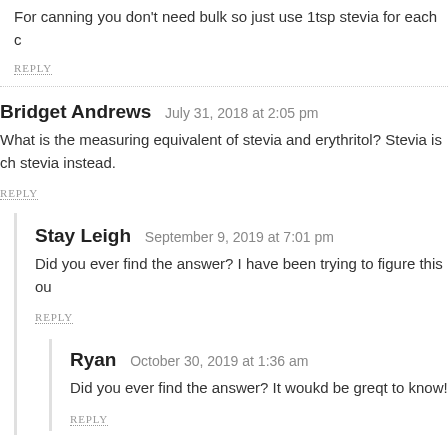For canning you don't need bulk so just use 1tsp stevia for each c
REPLY
Bridget Andrews   July 31, 2018 at 2:05 pm
What is the measuring equivalent of stevia and erythritol? Stevia is ch stevia instead.
REPLY
Stay Leigh   September 9, 2019 at 7:01 pm
Did you ever find the answer? I have been trying to figure this ou
REPLY
Ryan   October 30, 2019 at 1:36 am
Did you ever find the answer? It woukd be greqt to know!
REPLY